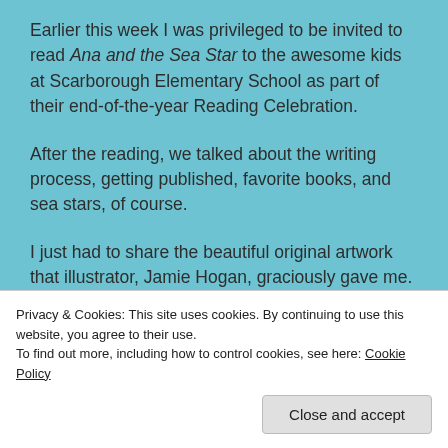Earlier this week I was privileged to be invited to read Ana and the Sea Star to the awesome kids at Scarborough Elementary School as part of their end-of-the-year Reading Celebration.
After the reading, we talked about the writing process, getting published, favorite books, and sea stars, of course.
I just had to share the beautiful original artwork that illustrator, Jamie Hogan, graciously gave me. My daughter helped choose this particular piece, which
Privacy & Cookies: This site uses cookies. By continuing to use this website, you agree to their use.
To find out more, including how to control cookies, see here: Cookie Policy